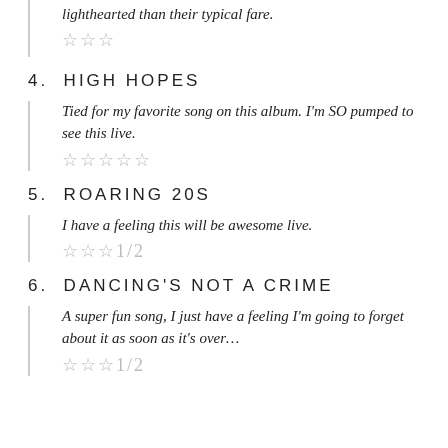lighthearted than their typical fare. ☆☆☆
4.  HIGH HOPES
Tied for my favorite song on this album. I'm SO pumped to see this live. ☆☆☆☆☆
5.  ROARING 20S
I have a feeling this will be awesome live. ☆☆☆1/2
6.  DANCING'S NOT A CRIME
A super fun song, I just have a feeling I'm going to forget about it as soon as it's over… ☆☆☆1/2